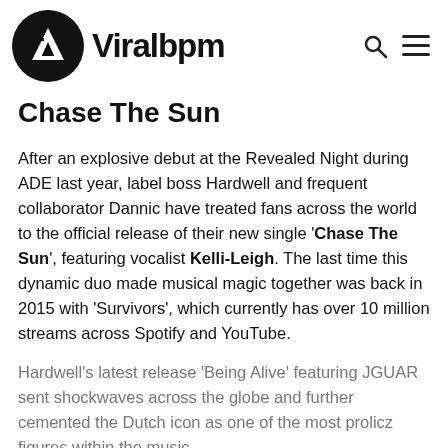Viralbpm
Chase The Sun
After an explosive debut at the Revealed Night during ADE last year, label boss Hardwell and frequent collaborator Dannic have treated fans across the world to the official release of their new single 'Chase The Sun', featuring vocalist Kelli-Leigh. The last time this dynamic duo made musical magic together was back in 2015 with 'Survivors', which currently has over 10 million streams across Spotify and YouTube.
Hardwell's latest release 'Being Alive' featuring JGUAR sent shockwaves across the globe and further cemented the Dutch icon as one of the most prolific figures within the music